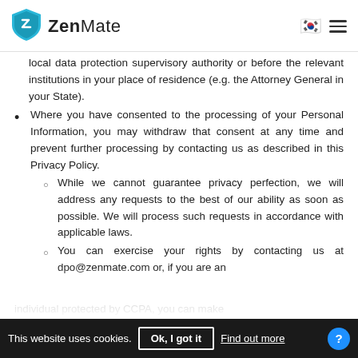ZenMate
local data protection supervisory authority or before the relevant institutions in your place of residence (e.g. the Attorney General in your State).
Where you have consented to the processing of your Personal Information, you may withdraw that consent at any time and prevent further processing by contacting us as described in this Privacy Policy.
While we cannot guarantee privacy perfection, we will address any requests to the best of our ability as soon as possible. We will process such requests in accordance with applicable laws.
You can exercise your rights by contacting us at dpo@zenmate.com or, if you are an individual protected by CCPA, you can make a request via our authorized agents by submitting a
This website uses cookies. Ok, I got it  Find out more